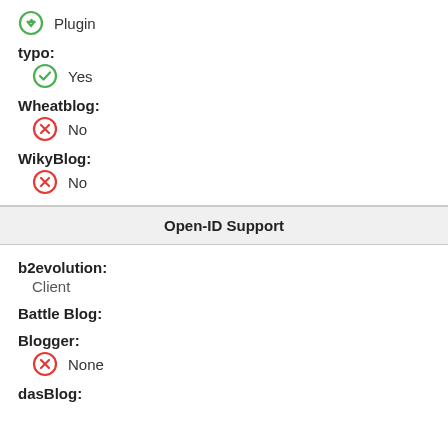Plugin
typo:
Yes
Wheatblog:
No
WikyBlog:
No
Open-ID Support
b2evolution:
Client
Battle Blog:
Blogger:
None
dasBlog: